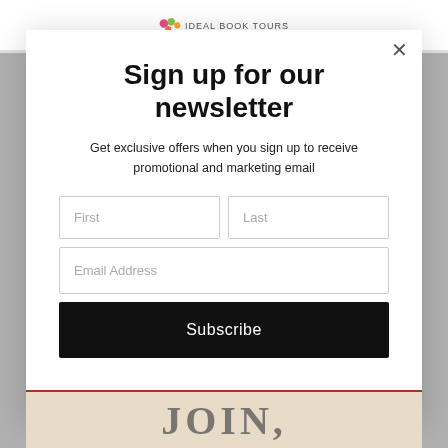[Figure (screenshot): Website header with logo (colorful dots icon and 'IDEAL BOOK TOURS' text)]
Sign up for our newsletter
Get exclusive offers when you sign up to receive promotional and marketing email
[Figure (screenshot): Newsletter signup modal form with First, Last, Email Address input fields and Subscribe button]